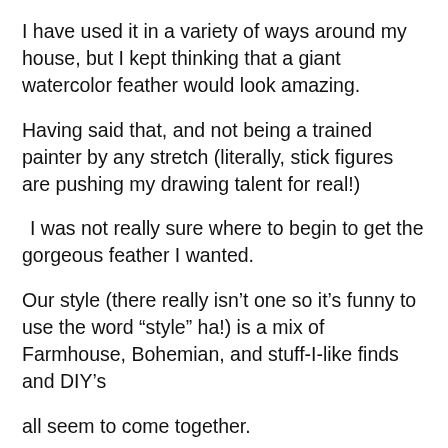I have used it in a variety of ways around my house, but I kept thinking that a giant watercolor feather would look amazing.
Having said that, and not being a trained painter by any stretch (literally, stick figures are pushing my drawing talent for real!)
I was not really sure where to begin to get the gorgeous feather I wanted.
Our style (there really isn’t one so it’s funny to use the word “style” ha!) is a mix of Farmhouse, Bohemian, and stuff-I-like finds and DIY’s
all seem to come together.
Until I got a wild hair and decide to switch it all up